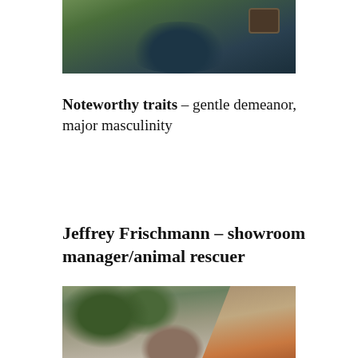[Figure (photo): Top portion of a photo showing a person lying on grass, wearing jeans, viewed from above]
Noteworthy traits – gentle demeanor, major masculinity
Jeffrey Frischmann – showroom manager/animal rescuer
[Figure (photo): Bottom portion of a photo showing trees and a tiled roof of a building in an outdoor setting]